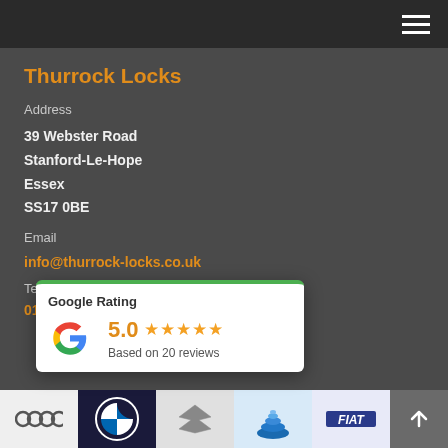Navigation menu (hamburger icon)
Thurrock Locks
Address
39 Webster Road
Stanford-Le-Hope
Essex
SS17 0BE
Email
info@thurrock-locks.co.uk
Tel
01...
[Figure (infographic): Google Rating popup showing 5.0 stars based on 20 reviews, with Google G logo and green top border]
[Figure (logo): Bottom bar with car brand logos: Audi, BMW, Citroen, Daewoo, Fiat]